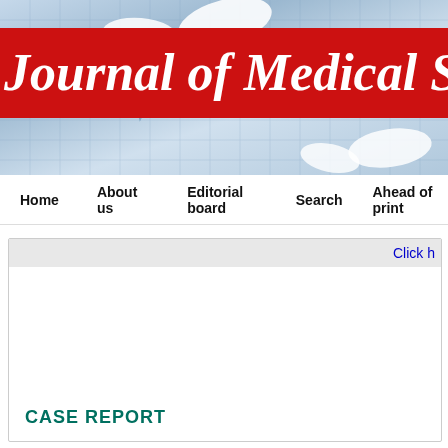[Figure (photo): Medical journal header banner with pills/tablets on blue background and red banner overlay showing 'Journal of Medical So...' (truncated)]
Journal of Medical So
Home   About us   Editorial board   Search   Ahead of print
Click h
CASE REPORT